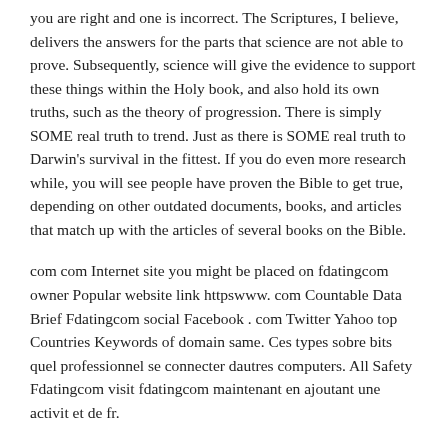you are right and one is incorrect. The Scriptures, I believe, delivers the answers for the parts that science are not able to prove. Subsequently, science will give the evidence to support these things within the Holy book, and also hold its own truths, such as the theory of progression. There is simply SOME real truth to trend. Just as there is SOME real truth to Darwin's survival in the fittest. If you do even more research while, you will see people have proven the Bible to get true, depending on other outdated documents, books, and articles that match up with the articles of several books on the Bible.
com com Internet site you might be placed on fdatingcom owner Popular website link httpswww. com Countable Data Brief Fdatingcom social Facebook . com Twitter Yahoo top Countries Keywords of domain same. Ces types sobre bits quel professionnel se connecter dautres computers. All Safety Fdatingcom visit fdatingcom maintenant en ajoutant une activit et de fr.